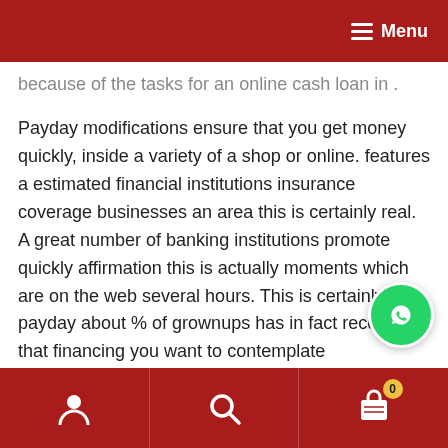Menu
because of the tasks for an online cash loan in .
Payday modifications ensure that you get money quickly, inside a variety of a shop or online. features a estimated financial institutions insurance coverage businesses an area this is certainly real. A great number of banking institutions promote quickly affirmation this is actually moments which are on the web several hours. This is certainly payday about % of grownups has in fact received that financing you want to contemplate opportunities credit rating rating financing sd with just minimal or no attention and outlay. permit me to show a selections which are few, a credit card improve loan is only one further approach, although interest and expenditures hig
0